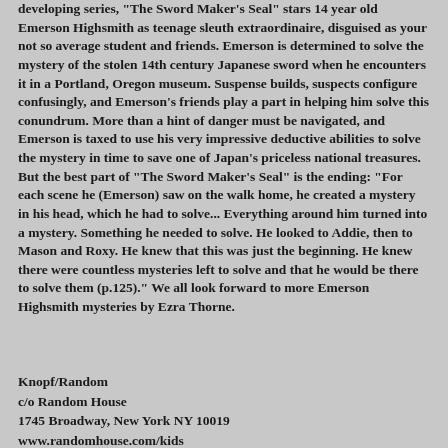developing series, "The Sword Maker's Seal" stars 14 year old Emerson Highsmith as teenage sleuth extraordinaire, disguised as your not so average student and friends. Emerson is determined to solve the mystery of the stolen 14th century Japanese sword when he encounters it in a Portland, Oregon museum. Suspense builds, suspects configure confusingly, and Emerson's friends play a part in helping him solve this conundrum. More than a hint of danger must be navigated, and Emerson is taxed to use his very impressive deductive abilities to solve the mystery in time to save one of Japan's priceless national treasures. But the best part of "The Sword Maker's Seal" is the ending: "For each scene he (Emerson) saw on the walk home, he created a mystery in his head, which he had to solve... Everything around him turned into a mystery. Something he needed to solve. He looked to Addie, then to Mason and Roxy. He knew that this was just the beginning. He knew there were countless mysteries left to solve and that he would be there to solve them (p.125)." We all look forward to more Emerson Highsmith mysteries by Ezra Thorne.
Knopf/Random
c/o Random House
1745 Broadway, New York NY 10019
www.randomhouse.com/kids